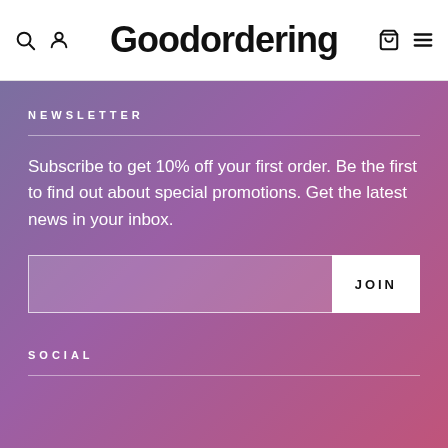Goodordering
NEWSLETTER
Subscribe to get 10% off your first order. Be the first to find out about special promotions. Get the latest news in your inbox.
SOCIAL